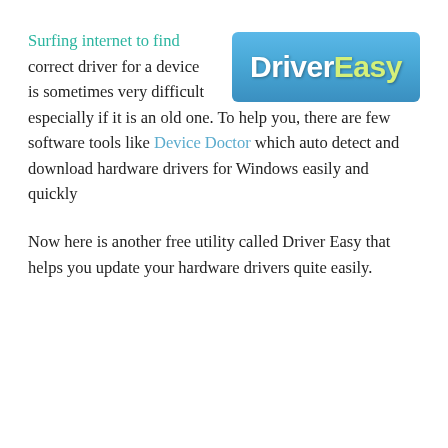Surfing internet to find correct driver for a device is sometimes very difficult especially if it is an old one. To help you, there are few software tools like Device Doctor which auto detect and download hardware drivers for Windows easily and quickly
[Figure (logo): DriverEasy logo on a blue gradient background, white text for 'Driver' and yellow-green text for 'Easy']
Now here is another free utility called Driver Easy that helps you update your hardware drivers quite easily.